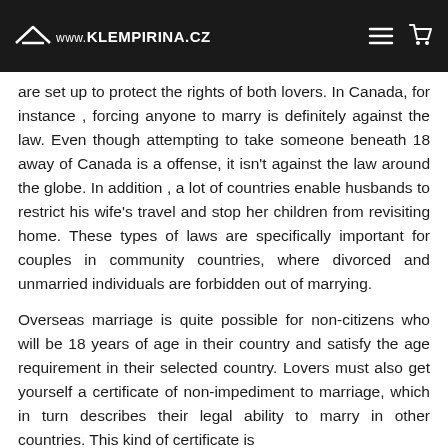www.KLEMPIRINA.CZ
are set up to protect the rights of both lovers. In Canada, for instance, forcing anyone to marry is definitely against the law. Even though attempting to take someone beneath 18 away of Canada is a offense, it isn't against the law around the globe. In addition , a lot of countries enable husbands to restrict his wife's travel and stop her children from revisiting home. These types of laws are specifically important for couples in community countries, where divorced and unmarried individuals are forbidden out of marrying.
Overseas marriage is quite possible for non-citizens who will be 18 years of age in their country and satisfy the age requirement in their selected country. Lovers must also get yourself a certificate of non-impediment to marriage, which in turn describes their legal ability to marry in other countries. This kind of certificate is